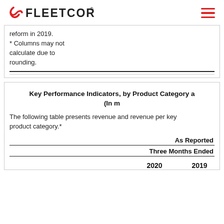FLEETCOR
reform in 2019.
* Columns may not calculate due to rounding.
Key Performance Indicators, by Product Category a (In m
The following table presents revenue and revenue per key product category.*
|  | As Reported |  |
| --- | --- | --- |
|  | Three Months Ended |  |
|  | 2020 | 2019 |